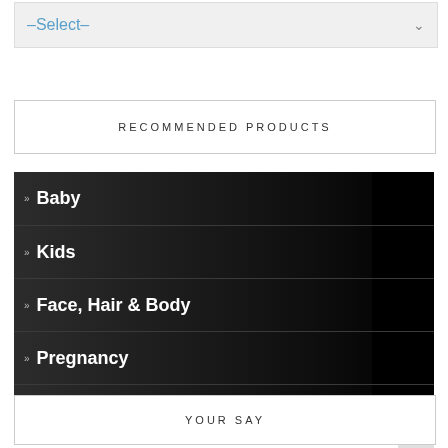-Select-
RECOMMENDED PRODUCTS
» Baby
» Kids
» Face, Hair & Body
» Pregnancy
» The Home
YOUR SAY